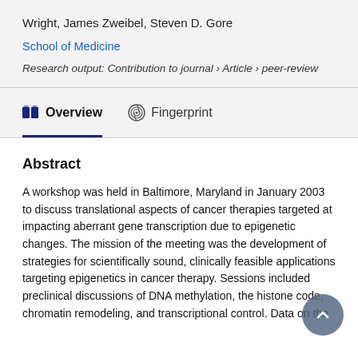Wright, James Zweibel, Steven D. Gore
School of Medicine
Research output: Contribution to journal › Article › peer-review
Overview
Fingerprint
Abstract
A workshop was held in Baltimore, Maryland in January 2003 to discuss translational aspects of cancer therapies targeted at impacting aberrant gene transcription due to epigenetic changes. The mission of the meeting was the development of strategies for scientifically sound, clinically feasible applications targeting epigenetics in cancer therapy. Sessions included preclinical discussions of DNA methylation, the histone code, chromatin remodeling, and transcriptional control. Data on the